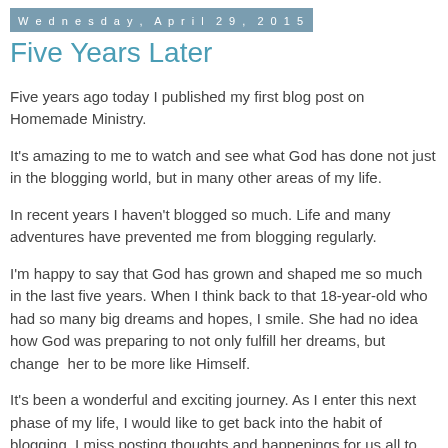Wednesday, April 29, 2015
Five Years Later
Five years ago today I published my first blog post on Homemade Ministry.
It's amazing to me to watch and see what God has done not just in the blogging world, but in many other areas of my life.
In recent years I haven't blogged so much. Life and many adventures have prevented me from blogging regularly.
I'm happy to say that God has grown and shaped me so much in the last five years. When I think back to that 18-year-old who had so many big dreams and hopes, I smile. She had no idea how God was preparing to not only fulfill her dreams, but change  her to be more like Himself.
It's been a wonderful and exciting journey. As I enter this next phase of my life, I would like to get back into the habit of blogging. I miss posting thoughts and happenings for us all to share.